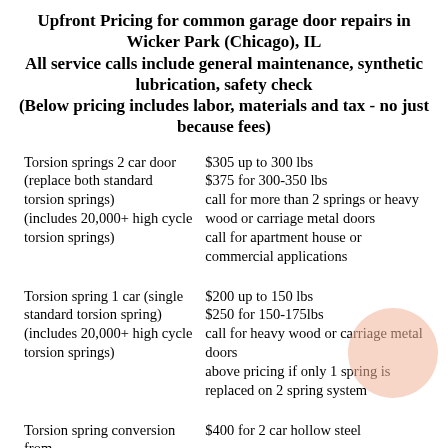Upfront Pricing for common garage door repairs in Wicker Park (Chicago), IL
All service calls include general maintenance, synthetic lubrication, safety check
(Below pricing includes labor, materials and tax - no just because fees)
| Torsion springs 2 car door (replace both standard torsion springs)
(includes 20,000+ high cycle torsion springs) | $305 up to 300 lbs
$375 for 300-350 lbs
call for more than 2 springs or heavy wood or carriage metal doors
call for apartment house or commercial applications |
| Torsion spring 1 car (single standard torsion spring)
(includes 20,000+ high cycle torsion springs) | $200 up to 150 lbs
$250 for 150-175lbs
call for heavy wood or carriage metal doors
above pricing if only 1 spring is replaced on 2 spring system |
| Torsion spring conversion from | $400 for 2 car hollow steel |